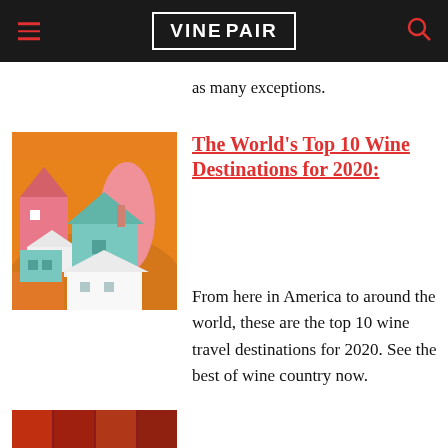VINEPAIR
as many exceptions.
[Figure (illustration): Colorful geometric illustration of a wine village with stylized houses in orange, pink, teal, and white against an orange background]
The World's Top 10 Wine Destinations for 2020:
From here in America to around the world, these are the top 10 wine travel destinations for 2020. See the best of wine country now.